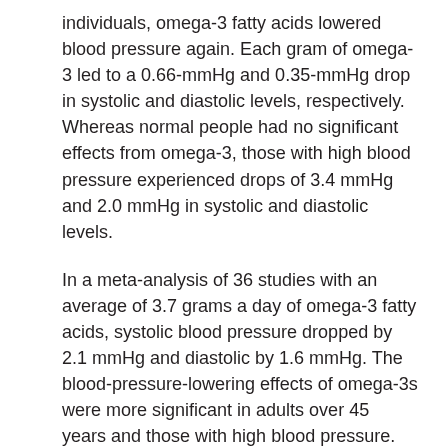individuals, omega-3 fatty acids lowered blood pressure again. Each gram of omega-3 led to a 0.66-mmHg and 0.35-mmHg drop in systolic and diastolic levels, respectively. Whereas normal people had no significant effects from omega-3, those with high blood pressure experienced drops of 3.4 mmHg and 2.0 mmHg in systolic and diastolic levels.
In a meta-analysis of 36 studies with an average of 3.7 grams a day of omega-3 fatty acids, systolic blood pressure dropped by 2.1 mmHg and diastolic by 1.6 mmHg. The blood-pressure-lowering effects of omega-3s were more significant in adults over 45 years and those with high blood pressure.
Now, there are two major omega-3 fats in fish — eicosapentaenoic acid (EPA); and docosahexaenoic acid (DHA) — that have different effects on blood pressure.